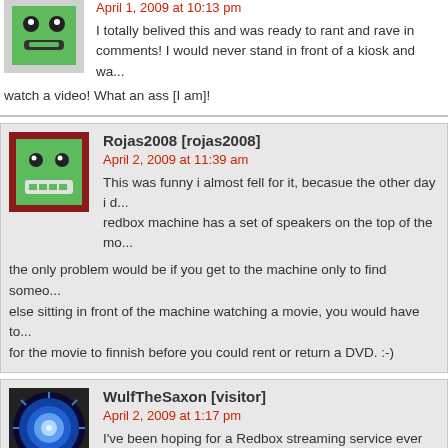April 1, 2009 at 10:13 pm
I totally belived this and was ready to rant and rave in comments! I would never stand in front of a kiosk and watch a video! What an ass [I am]!
Rojas2008 [rojas2008]
April 2, 2009 at 11:39 am
This was funny i almost fell for it, becasue the other day i d... redbox machine has a set of speakers on the top of the mo... the only problem would be if you get to the machine only to find someo... else sitting in front of the machine watching a movie, you would have to... for the movie to finnish before you could rent or return a DVD. :-)
WulfTheSaxon [visitor]
April 2, 2009 at 1:17 pm
I've been hoping for a Redbox streaming service ever s... their Video on Demand service at such an exorbitant price... "Cyber Monday" last year, they've occasionally offered select movies f... you can pay the $1 and then wait up to a month to watch it), but still…
Hopefully Redbox reads your post and takes the hint. :)